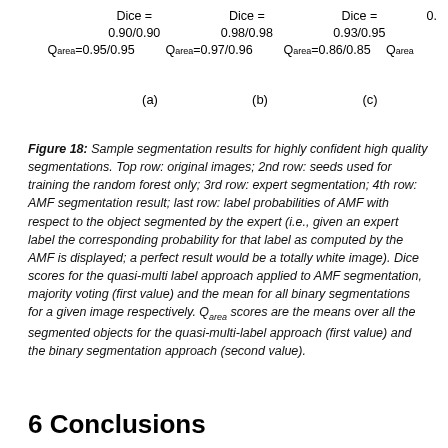Dice = 0.90/0.90  Dice = 0.98/0.98  Dice = 0.93/0.95  0.
Qarea=0.95/0.95 Qarea=0.97/0.96 Qarea=0.86/0.85 Qarea
(a)  (b)  (c)
Figure 18: Sample segmentation results for highly confident high quality segmentations. Top row: original images; 2nd row: seeds used for training the random forest only; 3rd row: expert segmentation; 4th row: AMF segmentation result; last row: label probabilities of AMF with respect to the object segmented by the expert (i.e., given an expert label the corresponding probability for that label as computed by the AMF is displayed; a perfect result would be a totally white image). Dice scores for the quasi-multi label approach applied to AMF segmentation, majority voting (first value) and the mean for all binary segmentations for a given image respectively. Qarea scores are the means over all the segmented objects for the quasi-multi-label approach (first value) and the binary segmentation approach (second value).
6 Conclusions